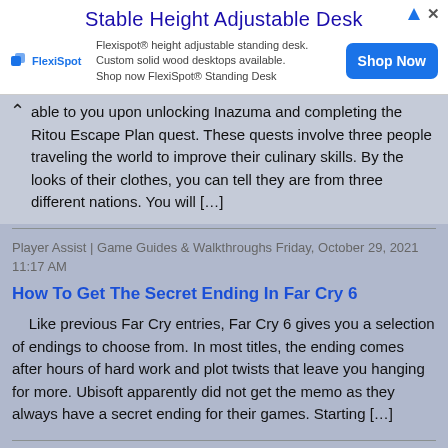[Figure (screenshot): Advertisement banner for FlexiSpot height adjustable standing desk with 'Shop Now' button]
able to you upon unlocking Inazuma and completing the Ritou Escape Plan quest. These quests involve three people traveling the world to improve their culinary skills. By the looks of their clothes, you can tell they are from three different nations. You will […]
Player Assist | Game Guides & Walkthroughs Friday, October 29, 2021 11:17 AM
How To Get The Secret Ending In Far Cry 6
Like previous Far Cry entries, Far Cry 6 gives you a selection of endings to choose from. In most titles, the ending comes after hours of hard work and plot twists that leave you hanging for more. Ubisoft apparently did not get the memo as they always have a secret ending for their games. Starting […]
Player Assist | Game Guides & Walkthroughs Friday, October 29, 2021 9:51 AM